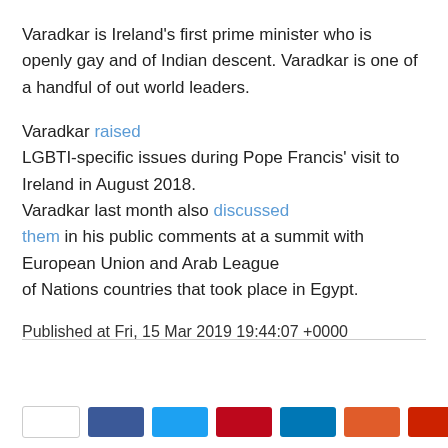Varadkar is Ireland's first prime minister who is openly gay and of Indian descent. Varadkar is one of a handful of out world leaders.
Varadkar raised LGBTI-specific issues during Pope Francis' visit to Ireland in August 2018. Varadkar last month also discussed them in his public comments at a summit with European Union and Arab League of Nations countries that took place in Egypt.
Published at Fri, 15 Mar 2019 19:44:07 +0000